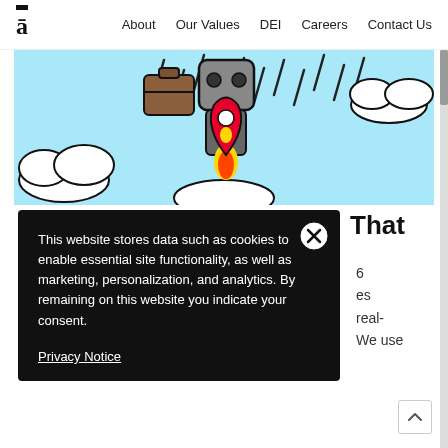ā   About   Our Values   DEI   Careers   Contact Us
[Figure (illustration): Cartoon illustration on light blue background showing a rocket/jetpack figure carrying a briefcase, falling rain lines, clouds, and a red location pin shape on the figure.]
This website stores data such as cookies to enable essential site functionality, as well as marketing, personalization, and analytics. By remaining on this website you indicate your consent.
Privacy Notice
That
6
es
real-
We use